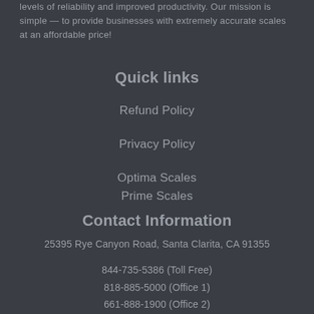levels of reliability and improved productivity. Our mission is simple — to provide businesses with extremely accurate scales at an affordable price!
Quick links
Refund Policy
Privacy Policy
Optima Scales
Prime Scales
Contact Information
25395 Rye Canyon Road, Santa Clarita, CA 91355
844-735-5386 (Toll Free)
818-885-5000 (Office 1)
661-888-1900 (Office 2)